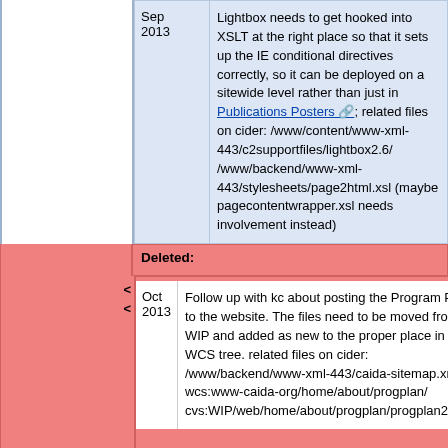| Date | Content |
| --- | --- |
| Sep 2013 | Lightbox needs to get hooked into XSLT at the right place so that it sets up the IE conditional directives correctly, so it can be deployed on a sitewide level rather than just in Publications Posters; related files on cider: /www/content/www-xml-443/c2supportfiles/lightbox2.6/ /www/backend/www-xml-443/stylesheets/page2html.xsl (maybe pagecontentwrapper.xsl needs involvement instead) |
| Deleted: |
| --- |
| Oct 2013 | Follow up with kc about posting the Program Plan to the website. The files need to be moved from WIP and added as new to the proper place in the WCS tree. related files on cider: /www/backend/www-xml-443/caida-sitemap.xml wcs:www-caida-org/home/about/progplan/ cvs:WIP/web/home/about/progplan/progplan2014/ |